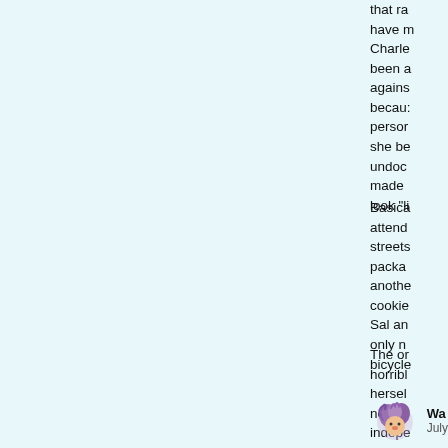that ra have m Charle been a agains becaus persor she be undoc made look "li
Basica attend streets packa anothe cookie Sal an only n bicycle
The o horribl hersel now a indepe
[Figure (illustration): Purple cartoon character avatar icon]
Wa July